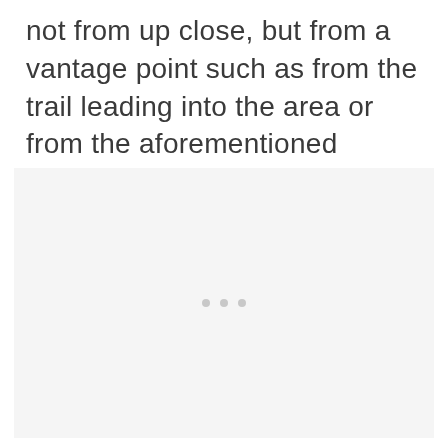not from up close, but from a vantage point such as from the trail leading into the area or from the aforementioned Tunnel View.
[Figure (photo): Large photo placeholder with light gray background and three small gray dots centered near the bottom, representing a loading or placeholder image area.]